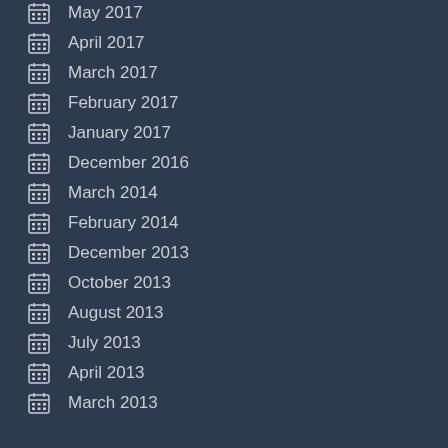May 2017
April 2017
March 2017
February 2017
January 2017
December 2016
March 2014
February 2014
December 2013
October 2013
August 2013
July 2013
April 2013
March 2013